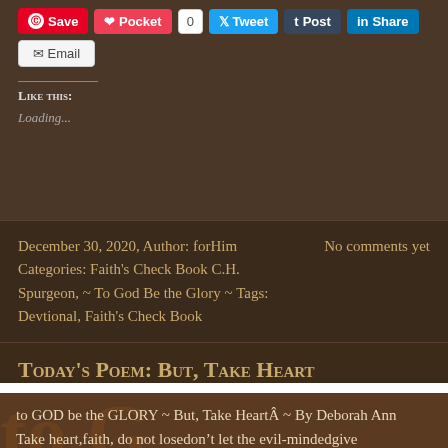[Figure (screenshot): Social sharing buttons: Pinterest Save, Pocket, 0, Tweet, Post (Tumblr), Share (LinkedIn), Email]
Like this:
Loading...
December 30, 2020, Author: forHim Categories: Faith's Check Book C.H. Spurgeon, ~ To God Be the Glory ~ Tags: Devtional, Faith's Check Book  No comments yet
Today's Poem: But, Take Heart
to GOD be the GLORY ~ But, Take HeartÂ ~ By Deborah Ann Take heart,faith, do not losedonât let the evil-mindedgive you the blues. For, peace can be yours,if you so electwhen onto